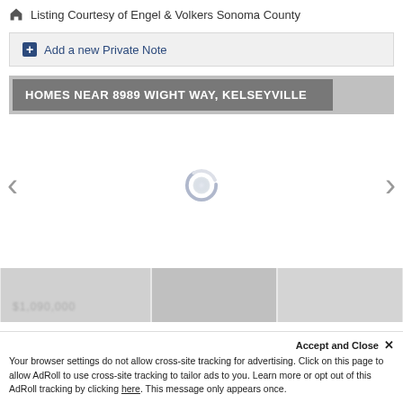Listing Courtesy of Engel & Volkers Sonoma County
+ Add a new Private Note
HOMES NEAR 8989 WIGHT WAY, KELSEYVILLE
[Figure (other): Loading spinner and carousel navigation arrows for nearby homes listing]
Accept and Close ×
Your browser settings do not allow cross-site tracking for advertising. Click on this page to allow AdRoll to use cross-site tracking to tailor ads to you. Learn more or opt out of this AdRoll tracking by clicking here. This message only appears once.